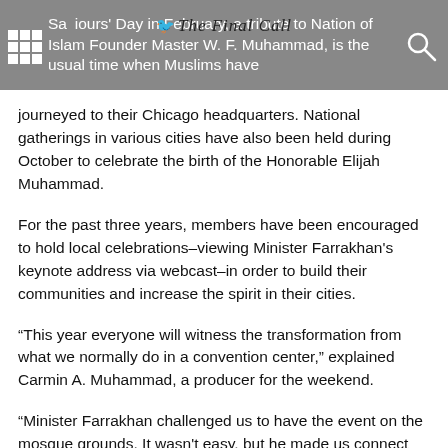Saviours' Day in February, a tribute to Nation of Islam Founder Master W. F. Muhammad, is the usual time when Muslims have journeyed to their Chicago headquarters. National gatherings in various cities have also been held during October to celebrate the birth of the Honorable Elijah Muhammad.
For the past three years, members have been encouraged to hold local celebrations–viewing Minister Farrakhan's keynote address via webcast–in order to build their communities and increase the spirit in their cities.
“This year everyone will witness the transformation from what we normally do in a convention center,” explained Carmin A. Muhammad, a producer for the weekend.
“Minister Farrakhan challenged us to have the event on the mosque grounds. It wasn't easy, but he made us connect with Allah (God) to meet the challenge. We had to have His spirit to accomplish this.”